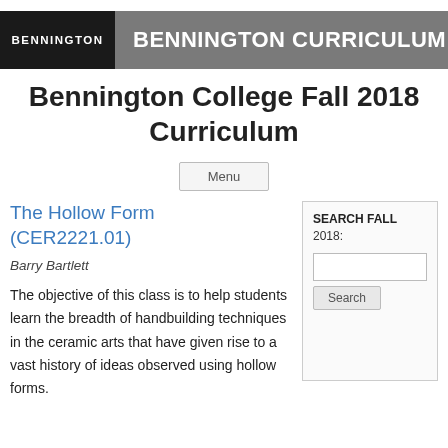BENNINGTON | BENNINGTON CURRICULUM
Bennington College Fall 2018 Curriculum
Menu
The Hollow Form (CER2221.01)
Barry Bartlett
The objective of this class is to help students learn the breadth of handbuilding techniques in the ceramic arts that have given rise to a vast history of ideas observed using hollow forms.
SEARCH FALL 2018: